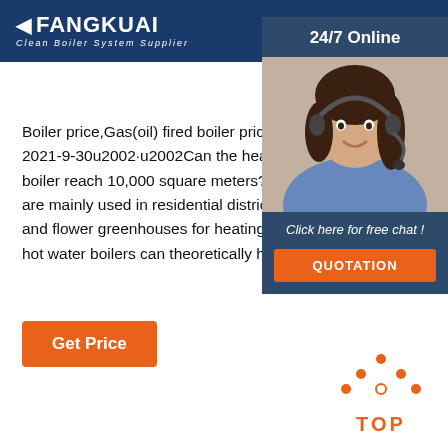FANGKUAI Clean Boiler System Supplier
Boiler price,Gas(oil) fired boiler price, Boiler ... 2021-9-30u2002·u2002Can the heating area of a boiler reach 10,000 square meters? 2021-09-24 ... are mainly used in residential districts, hotels, s... and flower greenhouses for heating and domes... hot water boilers can theoretically heat 10,000 s...
[Figure (illustration): 24/7 Online customer service panel with a woman wearing a headset, click here for free chat, and QUOTATION button]
[Figure (illustration): TOP back-to-top icon with orange dotted triangle above orange TOP text]